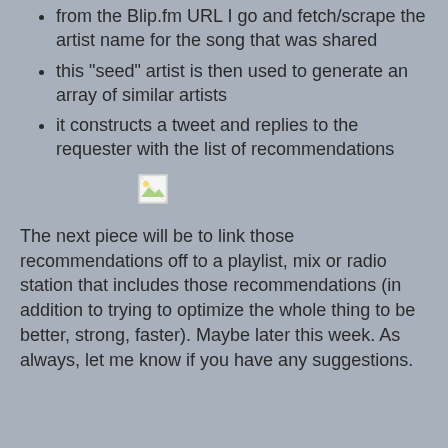from the Blip.fm URL I go and fetch/scrape the artist name for the song that was shared
this "seed" artist is then used to generate an array of similar artists
it constructs a tweet and replies to the requester with the list of recommendations
[Figure (other): Broken/missing image placeholder icon]
The next piece will be to link those recommendations off to a playlist, mix or radio station that includes those recommendations (in addition to trying to optimize the whole thing to be better, strong, faster). Maybe later this week. As always, let me know if you have any suggestions.